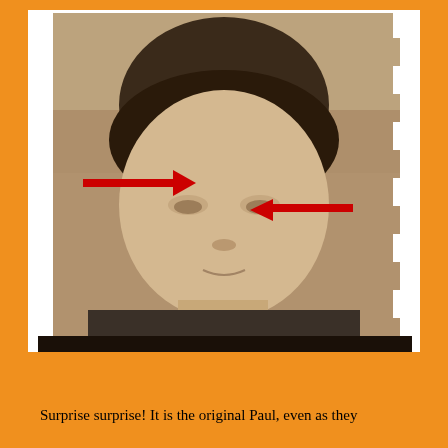[Figure (photo): Black and white sepia-toned yearbook-style photograph of a young man with dark mop-top hair, clean-shaven face. Two red arrows point toward his face — one on the left side pointing right toward his ear/hairline area, and one on the right side pointing left toward his ear/temple area. The photo has a staircase/stepped torn edge effect on the left side, suggesting it is a film strip or scanned photo with artifacts.]
Surprise surprise! It is the original Paul, even as they